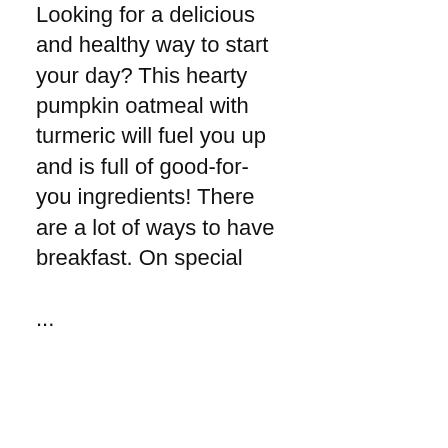Looking for a delicious and healthy way to start your day? This hearty pumpkin oatmeal with turmeric will fuel you up and is full of good-for-you ingredients! There are a lot of ways to have breakfast. On special ...